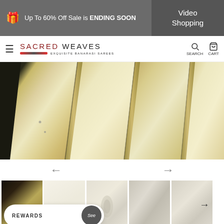Up To 60% Off Sale is ENDING SOON | Video Shopping
[Figure (screenshot): Sacred Weaves website navigation bar with logo, search and cart icons]
[Figure (photo): Close-up photo of cream/gold Banarasi saree fabric with intricate weaving, folded in pleats on dark background]
[Figure (screenshot): Product image thumbnails row showing 5 thumbnail views of the saree from different angles, with a left and right navigation arrow above]
REWARDS